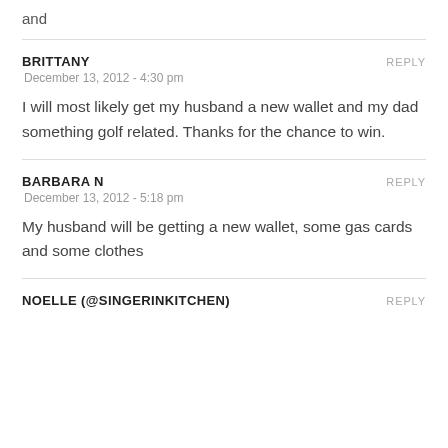and
BRITTANY
December 13, 2012 - 4:30 pm
I will most likely get my husband a new wallet and my dad something golf related. Thanks for the chance to win.
BARBARA N
December 13, 2012 - 5:18 pm
My husband will be getting a new wallet, some gas cards and some clothes
NOELLE (@SINGERINKITCHEN)